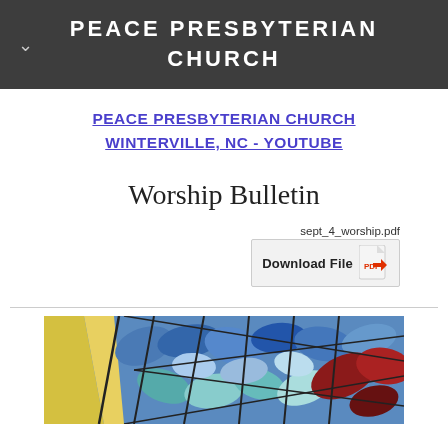PEACE PRESBYTERIAN CHURCH
PEACE PRESBYTERIAN CHURCH WINTERVILLE, NC - YOUTUBE
Worship Bulletin
sept_4_worship.pdf Download File
[Figure (photo): Colorful stained glass window pattern with blue, teal, red, burgundy, yellow, and light blue leaf/petal shapes separated by dark leading lines]